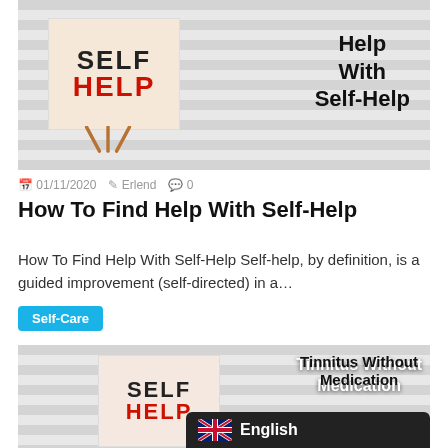[Figure (photo): Photo of an easel with a sign reading SELF HELP (HELP in red), placed against window blinds background. Text overlay reads 'Help With Self-Help'.]
01/11/2020  Erlend  0
How To Find Help With Self-Help
How To Find Help With Self-Help Self-help, by definition, is a guided improvement (self-directed) in a…
Self-Care
[Figure (photo): Partial photo of easel with SELF HELP sign against window blinds, with text overlay 'Tinnitus Without Medication'. English language selector bar overlaid at bottom right.]